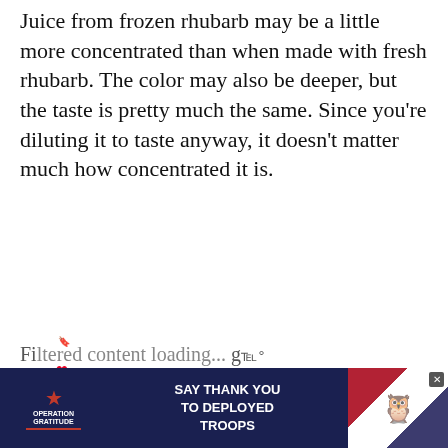Juice from frozen rhubarb may be a little more concentrated than when made with fresh rhubarb. The color may also be deeper, but the taste is pretty much the same. Since you're diluting it to taste anyway, it doesn't matter much how concentrated it is.
Here's what you need to know about how to freeze rhubarb.
WHAT TO DO WITH RHUBARB JUICE
[Figure (other): Advertisement banner for Operation Gratitude: SAY THANK YOU TO DEPLOYED TROOPS, with patriotic imagery and owl mascot, dark navy background]